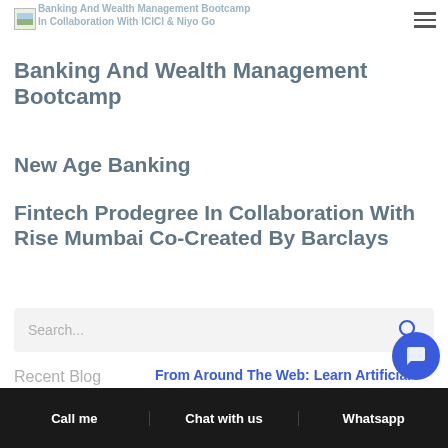Banking And Wealth Management Bootcamp In Collaboration With ICICI & Niyo Go
Banking And Wealth Management Bootcamp
New Age Banking
Fintech Prodegree In Collaboration With Rise Mumbai Co-Created By Barclays
Search...
Recent Blog
From Around The Web: Learn Artificial
Call me  Chat with us  Whatsapp